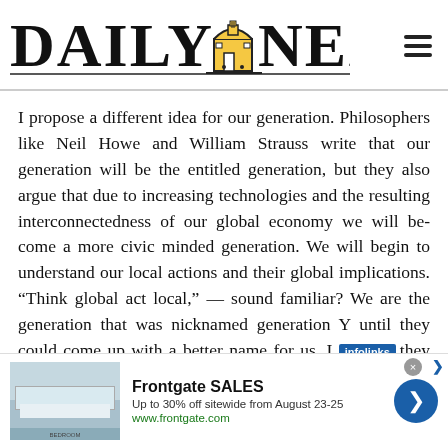[Figure (logo): Daily Nexus newspaper logo with text 'DAILY NEXUS' and a small illustrated building/tower icon between the words]
I propose a different idea for our generation. Philosophers like Neil Howe and William Strauss write that our generation will be the entitled generation, but they also argue that due to increasing technologies and the resulting interconnectedness of our global economy we will be-come a more civic minded generation. We will begin to understand our local actions and their global implications. “Think global act local,” — sound familiar? We are the generation that was nicknamed generation Y until they could come up with a better name for us. I think they were onto something when they nicknamed
[Figure (screenshot): Advertisement banner from Frontgate SALES showing bedroom furniture image, text 'Frontgate SALES Up to 30% off sitewide from August 23-25 www.frontgate.com' with a blue arrow button and infolinks label]